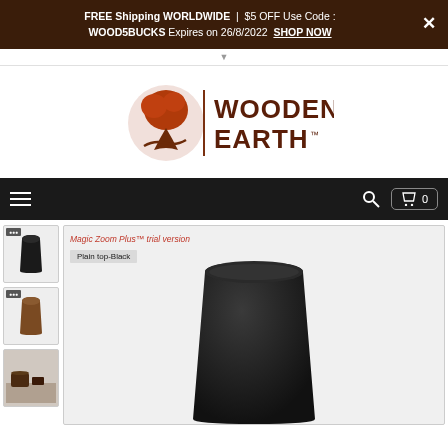FREE Shipping WORLDWIDE | $5 OFF Use Code: WOOD5BUCKS Expires on 26/8/2022 SHOP NOW
[Figure (logo): Wooden Earth logo with globe/tree icon and brand name text]
[Figure (screenshot): Navigation bar with hamburger menu, search icon, and cart button showing 0 items]
[Figure (photo): E-commerce product page showing a black wooden cup/bin. Thumbnail images on left (black variant, brown variant, lifestyle shot). Main image shows black plain top variant. Overlaid text: 'Magic Zoom Plus trial version' and 'Plain top-Black' label.]